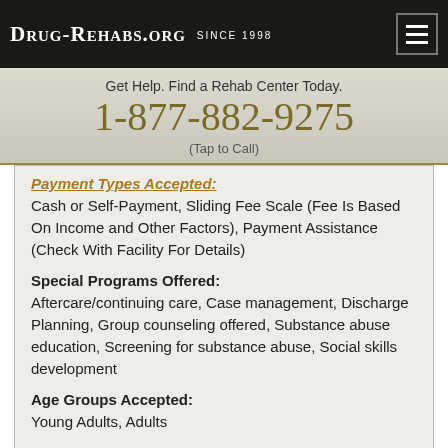Drug-Rehabs.org Since 1998
Get Help. Find a Rehab Center Today.
1-877-882-9275
(Tap to Call)
Payment Types Accepted:
Cash or Self-Payment, Sliding Fee Scale (Fee Is Based On Income and Other Factors), Payment Assistance (Check With Facility For Details)
Special Programs Offered:
Aftercare/continuing care, Case management, Discharge Planning, Group counseling offered, Substance abuse education, Screening for substance abuse, Social skills development
Age Groups Accepted:
Young Adults, Adults